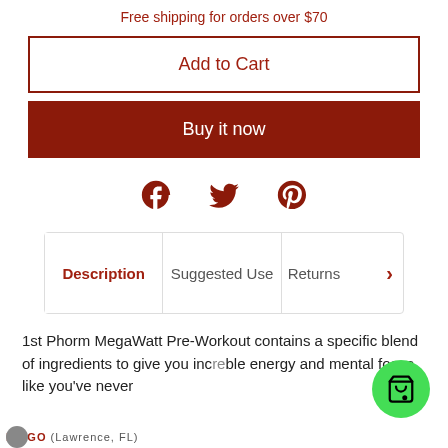Free shipping for orders over $70
Add to Cart
Buy it now
[Figure (illustration): Social share icons: Facebook, Twitter, Pinterest in dark red]
Description | Suggested Use | Returns
1st Phorm MegaWatt Pre-Workout contains a specific blend of ingredients to give you incredible energy and mental focus like you've never
DIEGO (Lawrence, FL)